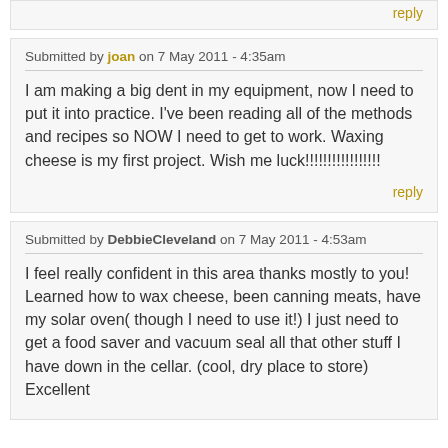reply
Submitted by joan on 7 May 2011 - 4:35am
I am making a big dent in my equipment, now I need to put it into practice. I've been reading all of the methods and recipes so NOW I need to get to work. Waxing cheese is my first project. Wish me luck!!!!!!!!!!!!!!!!!
reply
Submitted by DebbieCleveland on 7 May 2011 - 4:53am
I feel really confident in this area thanks mostly to you! Learned how to wax cheese, been canning meats, have my solar oven( though I need to use it!) I just need to get a food saver and vacuum seal all that other stuff I have down in the cellar. (cool, dry place to store) Excellent